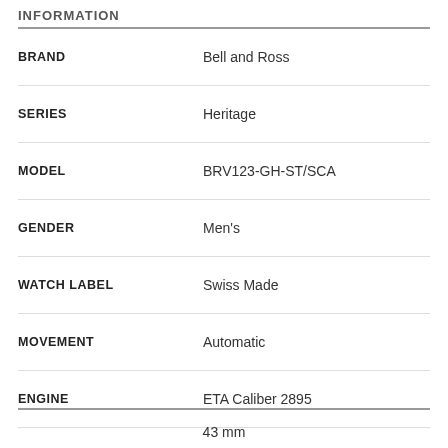INFORMATION
| Field | Value |
| --- | --- |
| BRAND | Bell and Ross |
| SERIES | Heritage |
| MODEL | BRV123-GH-ST/SCA |
| GENDER | Men's |
| WATCH LABEL | Swiss Made |
| MOVEMENT | Automatic |
| ENGINE | ETA Caliber 2895 |
| POWER RESERVE | 40 hours |
43 mm